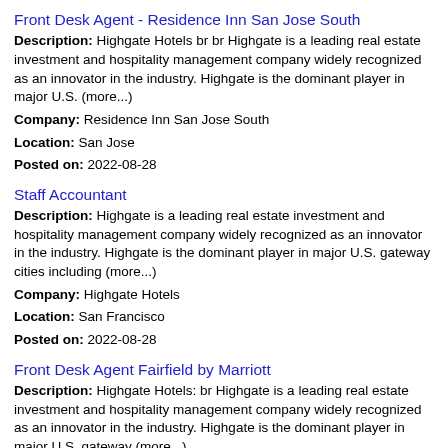Front Desk Agent - Residence Inn San Jose South
Description: Highgate Hotels br br Highgate is a leading real estate investment and hospitality management company widely recognized as an innovator in the industry. Highgate is the dominant player in major U.S. (more...)
Company: Residence Inn San Jose South
Location: San Jose
Posted on: 2022-08-28
Staff Accountant
Description: Highgate is a leading real estate investment and hospitality management company widely recognized as an innovator in the industry. Highgate is the dominant player in major U.S. gateway cities including (more...)
Company: Highgate Hotels
Location: San Francisco
Posted on: 2022-08-28
Front Desk Agent Fairfield by Marriott
Description: Highgate Hotels: br Highgate is a leading real estate investment and hospitality management company widely recognized as an innovator in the industry. Highgate is the dominant player in major U.S. gateway (more...)
Company: Fairfield Inn Vacaville
Location: Vacaville
Posted on: 2022-08-28